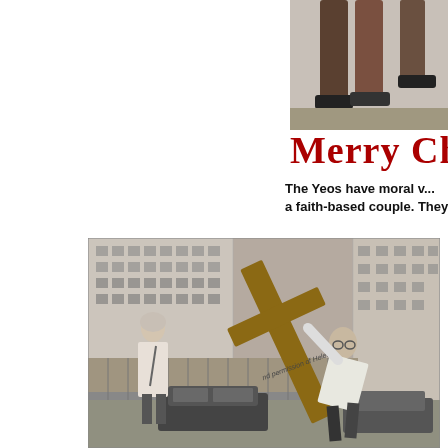[Figure (photo): Partial black-and-white photo at top right showing legs/lower body of a person, cropped.]
Merry Ch...
The Yeos have moral v... a faith-based couple. They ...
[Figure (photo): Black-and-white street photograph showing a man carrying a large wooden cross in an urban setting with city buildings in the background. A woman walks nearby. A watermark reads 'nd permission of Helen Yeo'.]